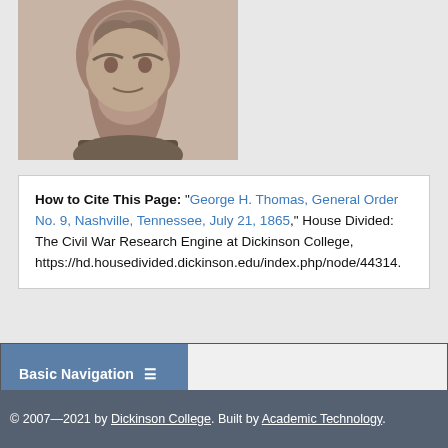[Figure (photo): Black and white photograph of a man, partially cropped, showing head and upper body]
How to Cite This Page: "George H. Thomas, General Order No. 9, Nashville, Tennessee, July 21, 1865," House Divided: The Civil War Research Engine at Dickinson College, https://hd.housedivided.dickinson.edu/index.php/node/44314.
Basic Navigation
© 2007—2021 by Dickinson College. Built by Academic Technology.